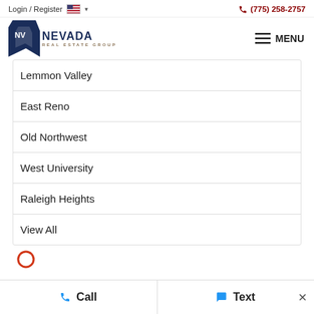Login / Register  (775) 258-2757
[Figure (logo): Nevada Real Estate Group logo with Nevada state shape icon]
Lemmon Valley
East Reno
Old Northwest
West University
Raleigh Heights
View All
Call   Text  ×